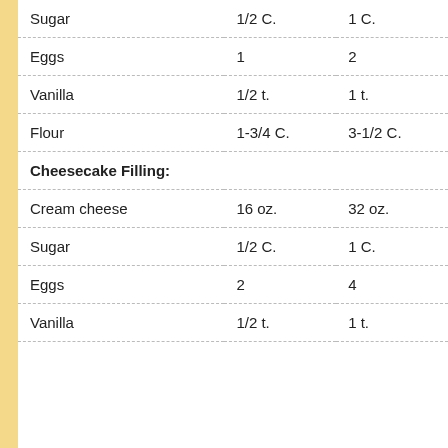| Ingredient | Small | Large |
| --- | --- | --- |
| Sugar | 1/2 C. | 1 C. |
| Eggs | 1 | 2 |
| Vanilla | 1/2 t. | 1 t. |
| Flour | 1-3/4 C. | 3-1/2 C. |
| Cheesecake Filling: |  |  |
| Cream cheese | 16 oz. | 32 oz. |
| Sugar | 1/2 C. | 1 C. |
| Eggs | 2 | 4 |
| Vanilla | 1/2 t. | 1 t. |